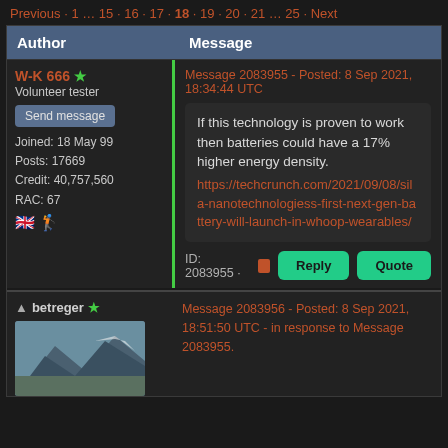Previous · 1 … 15 · 16 · 17 · 18 · 19 · 20 · 21 … 25 · Next
| Author | Message |
| --- | --- |
| W-K 666 ★
Volunteer tester
Joined: 18 May 99
Posts: 17669
Credit: 40,757,560
RAC: 67 | Message 2083955 - Posted: 8 Sep 2021, 18:34:44 UTC

If this technology is proven to work then batteries could have a 17% higher energy density.
https://techcrunch.com/2021/09/08/sila-nanotechnologiess-first-next-gen-battery-will-launch-in-whoop-wearables/

ID: 2083955 · [Reply] [Quote] |
| betreger ★ | Message 2083956 - Posted: 8 Sep 2021, 18:51:50 UTC - in response to Message 2083955. |